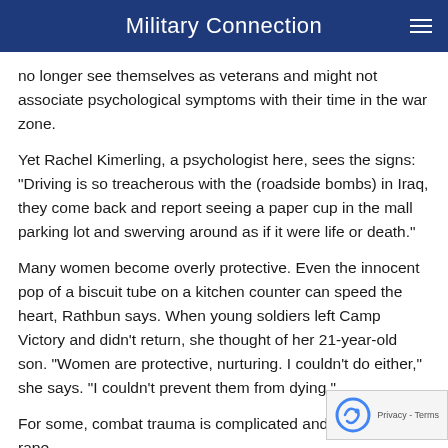Military Connection
no longer see themselves as veterans and might not associate psychological symptoms with their time in the war zone.
Yet Rachel Kimerling, a psychologist here, sees the signs: "Driving is so treacherous with the (roadside bombs) in Iraq, they come back and report seeing a paper cup in the mall parking lot and swerving around as if it were life or death."
Many women become overly protective. Even the innocent pop of a biscuit tube on a kitchen counter can speed the heart, Rathbun says. When young soldiers left Camp Victory and didn't return, she thought of her 21-year-old son. "Women are protective, nurturing. I couldn't do either," she says. "I couldn't prevent them from dying."
For some, combat trauma is complicated and intensified by rape,